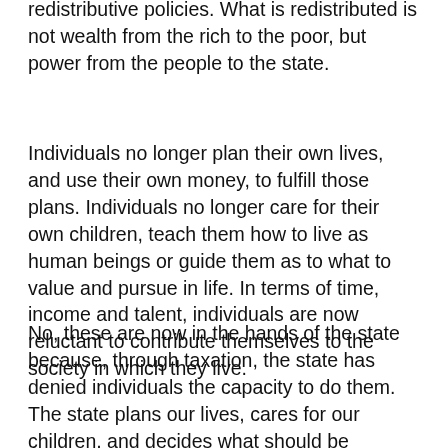redistributive policies. What is redistributed is not wealth from the rich to the poor, but power from the people to the state.
Individuals no longer plan their own lives, and use their own money, to fulfill those plans. Individuals no longer care for their own children, teach them how to live as human beings or guide them as to what to value and pursue in life. In terms of time, income and talent, individuals are now reluctant to contribute themselves to the society in which they live.
No, these are now in the hands of the state because, through taxation, the state has denied individuals the capacity to do them. The state plans our lives, cares for our children, and decides what should be supported in society as